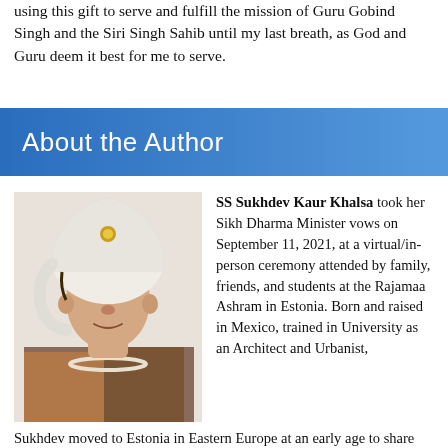using this gift to serve and fulfill the mission of Guru Gobind Singh and the Siri Singh Sahib until my last breath, as God and Guru deem it best for me to serve.
About the Author
[Figure (photo): Portrait photo of SS Sukhdev Kaur Khalsa wearing a white turban and pearl necklace with traditional attire]
SS Sukhdev Kaur Khalsa took her Sikh Dharma Minister vows on September 11, 2021, at a virtual/in-person ceremony attended by family, friends, and students at the Rajamaa Ashram in Estonia. Born and raised in Mexico, trained in University as an Architect and Urbanist, Sukhdev moved to Estonia in Eastern Europe at an early age to share the teachings of Yogi Bhajan, including the wisdom of women's teachings and Sikh Dharma. She is a KRI Lead Trainer and organizer, leads, and teaches in